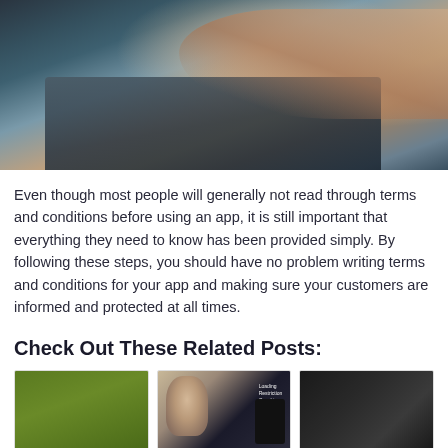[Figure (photo): Close-up photo of hands typing on a laptop keyboard, shot from above at an angle, with warm tones on the hands and dark tones on the keyboard.]
Even though most people will generally not read through terms and conditions before using an app, it is still important that everything they need to know has been provided simply. By following these steps, you should have no problem writing terms and conditions for your app and making sure your customers are informed and protected at all times.
Check Out These Related Posts:
[Figure (photo): Thumbnail image with green background and partial view at bottom.]
[Figure (photo): Thumbnail image showing a man with glasses and text overlay, with a phone visible on the right side.]
[Figure (photo): Thumbnail dark image, appears to show weights or gym equipment.]